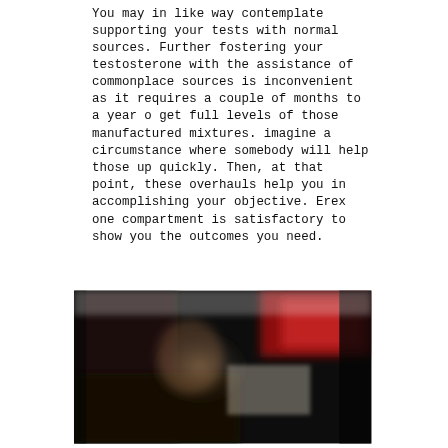You may in like way contemplate supporting your tests with normal sources. Further fostering your testosterone with the assistance of commonplace sources is inconvenient as it requires a couple of months to a year o get full levels of those manufactured mixtures. imagine a circumstance where somebody will help those up quickly. Then, at that point, these overhauls help you in accomplishing your objective. Erex one compartment is satisfactory to show you the outcomes you need.
[Figure (photo): A blurred photo showing a dark background with what appears to be a person and a red product package or label, heavily blurred and partially obscured.]